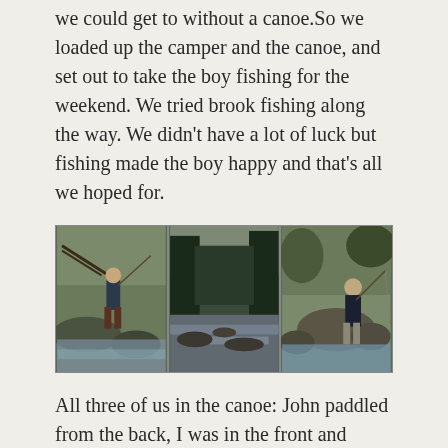we could get to without a canoe.So we loaded up the camper and the canoe, and set out to take the boy fishing for the weekend. We tried brook fishing along the way. We didn't have a lot of luck but fishing made the boy happy and that's all we hoped for.
[Figure (photo): Three side-by-side outdoor fishing photos: left shows a boy fishing on rocks by a rushing stream, center shows a rocky brook/stream scene with trees, right shows an adult man fishing on rocks by rushing water.]
All three of us in the canoe: John paddled from the back, I was in the front and Tyler was in the middle. We spent the weekend taking turns casting, perfecting the casting technique, tying on different flies, and learning the art of setting the hook. We caught fish after fish and release